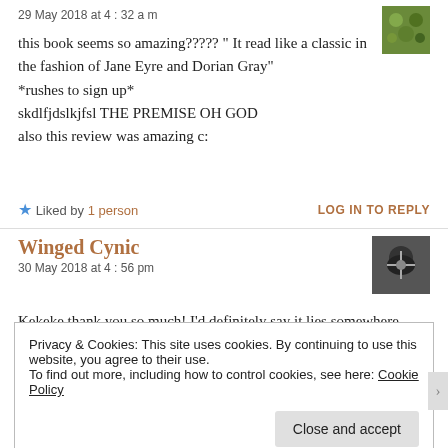29 May 2018 at 4:32 am
this book seems so amazing????? " It read like a classic in the fashion of Jane Eyre and Dorian Gray"
*rushes to sign up*
skdlfjdslkjfsl THE PREMISE OH GOD
also this review was amazing c:
Liked by 1 person   LOG IN TO REPLY
Winged Cynic
30 May 2018 at 4:56 pm
Kekeke thank you so much! I'd definitely say it lies somewhere
Privacy & Cookies: This site uses cookies. By continuing to use this website, you agree to their use.
To find out more, including how to control cookies, see here: Cookie Policy
Close and accept